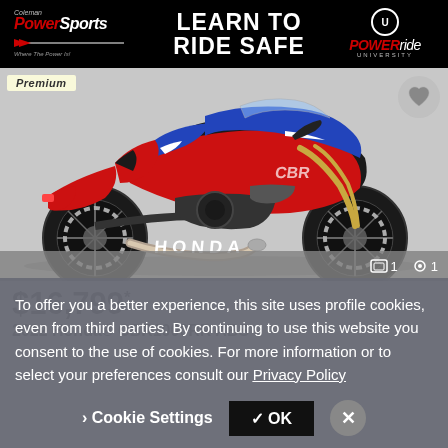[Figure (screenshot): Coleman PowerSports 'Learn to Ride Safe' banner advertisement with PowerRide University logo on black background]
Premium
[Figure (photo): 2022 Honda CBR1000RR ABS sportbike motorcycle in red, blue, and black colorway, side profile view]
$16,799*
2022 Honda® CBR1000RR ABS
To offer you a better experience, this site uses profile cookies, even from third parties. By continuing to use this website you consent to the use of cookies. For more information or to select your preferences consult our Privacy Policy